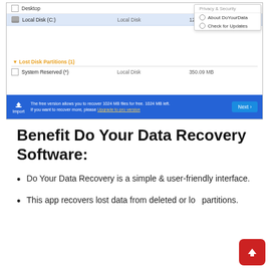[Figure (screenshot): Screenshot of Do Your Data Recovery software showing disk list interface with Local Disk (C:) selected, Lost Disk Partitions section with System Reserved, a blue bottom bar with free version message and Next button, and a dropdown menu with About DoYourData and Check for Updates options.]
Benefit Do Your Data Recovery Software:
Do Your Data Recovery is a simple & user-friendly interface.
This app recovers lost data from deleted or lost partitions.